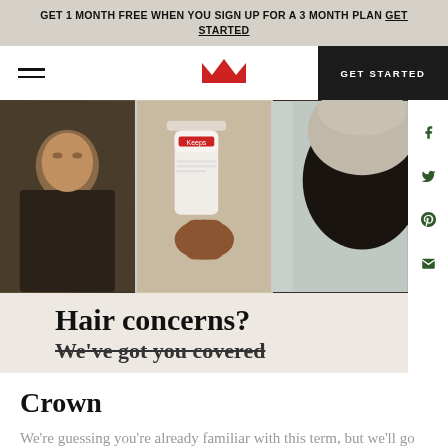GET 1 MONTH FREE WHEN YOU SIGN UP FOR A 3 MONTH PLAN GET STARTED
[Figure (screenshot): Website navigation bar with hamburger menu, crown/keeps logo in red, and dark GET STARTED button]
[Figure (photo): Three panel hero image: man in dark hoodie, hand holding Keeps product bottle, back of man's head showing hairline]
Hair concerns?
We've got you covered
Crown
We're guessing you're already familiar with this term, but we'll go ahead and define it for you